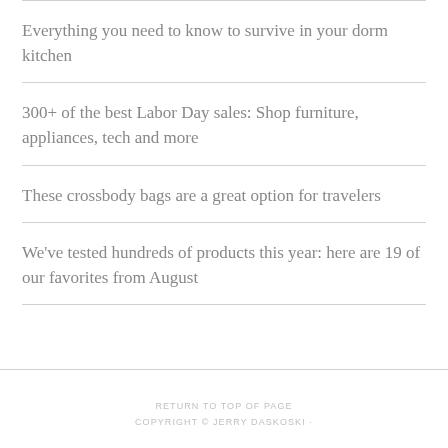Everything you need to know to survive in your dorm kitchen
300+ of the best Labor Day sales: Shop furniture, appliances, tech and more
These crossbody bags are a great option for travelers
We've tested hundreds of products this year: here are 19 of our favorites from August
RETURN TO TOP OF PAGE
COPYRIGHT © JERRY DASKOSKI ·